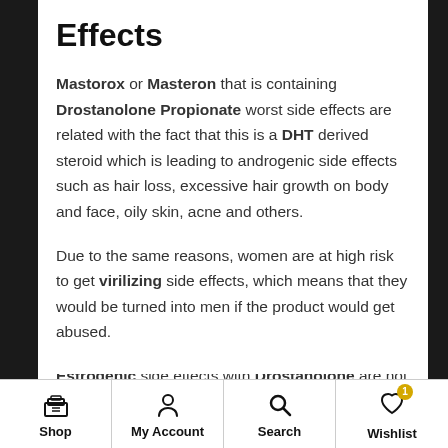Effects
Mastorox or Masteron that is containing Drostanolone Propionate worst side effects are related with the fact that this is a DHT derived steroid which is leading to androgenic side effects such as hair loss, excessive hair growth on body and face, oily skin, acne and others.
Due to the same reasons, women are at high risk to get virilizing side effects, which means that they would be turned into men if the product would get abused.
Estrogenic side effects with Drostanolone are not possible which is quite obvious, especially taking in
Shop  My Account  Search  Wishlist